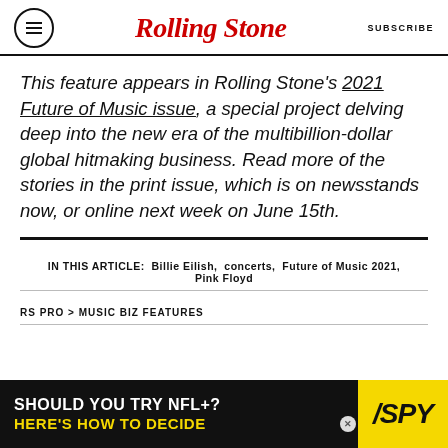Rolling Stone | SUBSCRIBE
This feature appears in Rolling Stone's 2021 Future of Music issue, a special project delving deep into the new era of the multibillion-dollar global hitmaking business. Read more of the stories in the print issue, which is on newsstands now, or online next week on June 15th.
IN THIS ARTICLE: Billie Eilish, concerts, Future of Music 2021, Pink Floyd
RS PRO > MUSIC BIZ FEATURES
[Figure (screenshot): Advertisement banner: 'SHOULD YOU TRY NFL+? HERE'S HOW TO DECIDE' with SPY logo on yellow background]